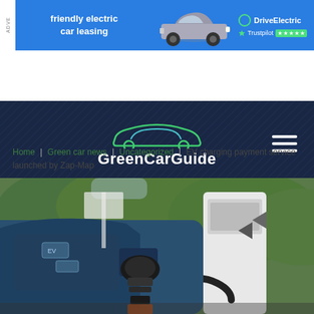[Figure (screenshot): Advertisement banner for DriveElectric friendly electric car leasing, showing a MINI electric car on a blue background with Trustpilot 5-star rating]
[Figure (logo): GreenCarGuide logo on dark navy background with car silhouette outline and hamburger menu icon]
Home | Green car news | Uncategorized | EV charging payment service launched by Zap-Map
[Figure (photo): Close-up photo of an electric vehicle charging cable plugged into a blue electric car at a white EV charging station, with green trees in the background]